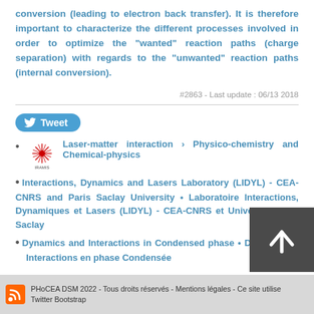conversion (leading to electron back transfer). It is therefore important to characterize the different processes involved in order to optimize the "wanted" reaction paths (charge separation) with regards to the "unwanted" reaction paths (internal conversion).
#2863 - Last update : 06/13 2018
[Figure (other): Tweet button with Twitter bird icon]
Laser-matter interaction › Physico-chemistry and Chemical-physics
Interactions, Dynamics and Lasers Laboratory (LIDYL) - CEA-CNRS and Paris Saclay University • Laboratoire Interactions, Dynamiques et Lasers (LIDYL) - CEA-CNRS et Université Paris Saclay
Dynamics and Interactions in Condensed phase • Dynamiques et Interactions en phase Condensée
PHoCEA DSM 2022 - Tous droits réservés - Mentions légales - Ce site utilise Twitter Bootstrap